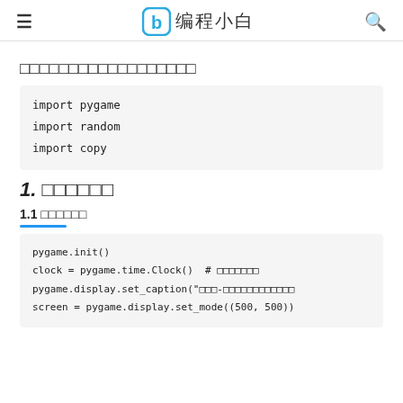编程小白
□□□□□□□□□□□□□□□□□□
import pygame
import random
import copy
1. □□□□□□
1.1 □□□□□□
pygame.init()
clock = pygame.time.Clock()  # □□□□□□□
pygame.display.set_caption("□□□-□□□□□□□□□□□□
screen = pygame.display.set_mode((500, 500))